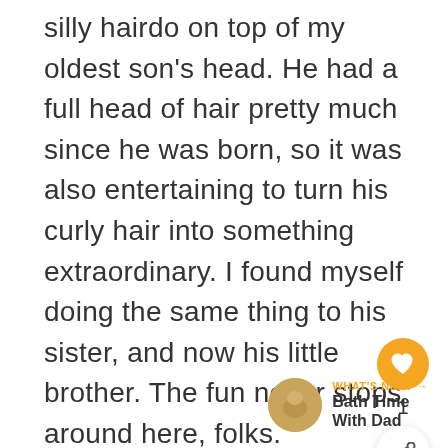silly hairdo on top of my oldest son's head. He had a full head of hair pretty much since he was born, so it was also entertaining to turn his curly hair into something extraordinary. I found myself doing the same thing to his sister, and now his little brother. The fun never stops around here, folks.
[Figure (other): Orange heart/like button icon, like count '1', and share button]
[Figure (other): WHAT'S NEXT navigation panel with thumbnail and 'Bath Time With Dad' label]